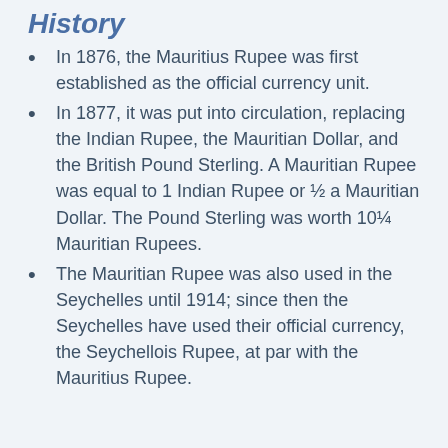History
In 1876, the Mauritius Rupee was first established as the official currency unit.
In 1877, it was put into circulation, replacing the Indian Rupee, the Mauritian Dollar, and the British Pound Sterling. A Mauritian Rupee was equal to 1 Indian Rupee or ½ a Mauritian Dollar. The Pound Sterling was worth 10¼ Mauritian Rupees.
The Mauritian Rupee was also used in the Seychelles until 1914; since then the Seychelles have used their official currency, the Seychellois Rupee, at par with the Mauritius Rupee.